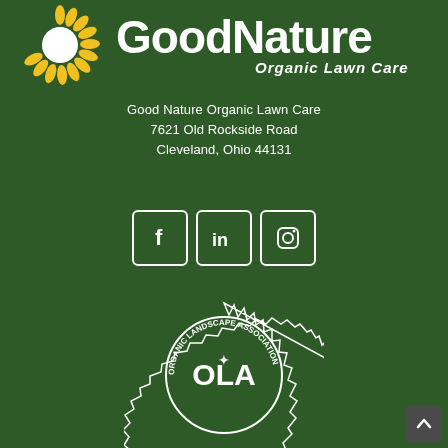[Figure (logo): Good Nature Organic Lawn Care logo with yellow sunburst and white text on dark green background]
Good Nature Organic Lawn Care
7621 Old Rockside Road
Cleveland, Ohio 44131
[Figure (infographic): Three social media icon boxes: Facebook (f), LinkedIn (in), Instagram (camera icon), white outlined squares on dark green]
[Figure (logo): OLA Organic Landscape Association circular badge/seal in white on dark green background]